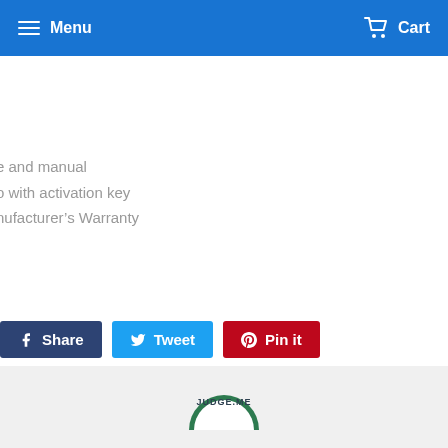Menu  Cart
e and manual
o with activation key
nufacturer's Warranty
[Figure (screenshot): Social sharing buttons: Share (Facebook, dark blue), Tweet (Twitter, light blue), Pin it (Pinterest, red)]
[Figure (logo): Judge.me logo at the bottom footer area]